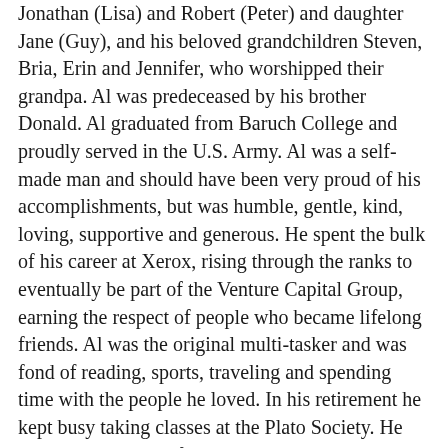Jonathan (Lisa) and Robert (Peter) and daughter Jane (Guy), and his beloved grandchildren Steven, Bria, Erin and Jennifer, who worshipped their grandpa. Al was predeceased by his brother Donald. Al graduated from Baruch College and proudly served in the U.S. Army. Al was a self-made man and should have been very proud of his accomplishments, but was humble, gentle, kind, loving, supportive and generous. He spent the bulk of his career at Xerox, rising through the ranks to eventually be part of the Venture Capital Group, earning the respect of people who became lifelong friends. Al was the original multi-tasker and was fond of reading, sports, traveling and spending time with the people he loved. In his retirement he kept busy taking classes at the Plato Society. He had the best sense of humor and a very quick wit. Al was always there for his family and will be greatly missed by his grieving family and friends, for whom his loss is immeasurable.